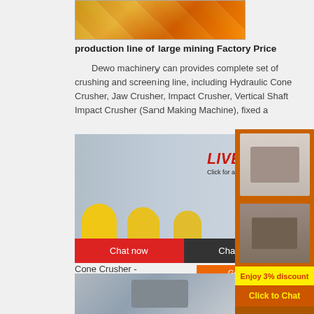[Figure (photo): Industrial machinery / mining production line image at top]
production line of large mining Factory Price
Dewo machinery can provides complete set of crushing and screening line, including Hydraulic Cone Crusher, Jaw Crusher, Impact Crusher, Vertical Shaft Impact Crusher (Sand Making Machine), fixed a
[Figure (photo): Live Chat popup overlay with workers in hard hats. LIVE CHAT heading in red italic. Click for a Free Consultation. Chat now (red button), Chat later (dark button).]
Cone Crusher -
[Figure (other): Email contact button box]
[Figure (photo): Bottom image of crusher machinery on construction site]
[Figure (infographic): Right sidebar: orange background with machinery photos, Enjoy 3% discount (yellow), Click to Chat (orange/yellow), Enquiry, mumumugoods@gmail.com]